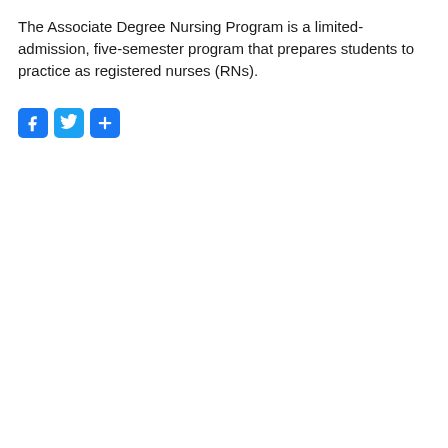The Associate Degree Nursing Program is a limited-admission, five-semester program that prepares students to practice as registered nurses (RNs).
[Figure (other): Three social sharing icon buttons: Facebook (F), Twitter (bird), and a Share (+) button, all with blue rounded square backgrounds.]